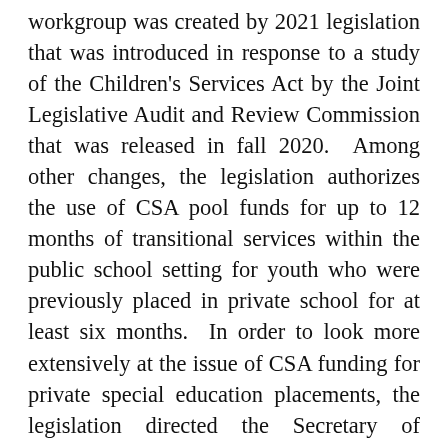workgroup was created by 2021 legislation that was introduced in response to a study of the Children's Services Act by the Joint Legislative Audit and Review Commission that was released in fall 2020.  Among other changes, the legislation authorizes the use of CSA pool funds for up to 12 months of transitional services within the public school setting for youth who were previously placed in private school for at least six months.  In order to look more extensively at the issue of CSA funding for private special education placements, the legislation directed the Secretary of Education and the Secretary of Health and Human Resources to convene a workgroup to develop a detailed plan for the transfer of CSA private day school funding to the Department of Education, and recommendations on the use of CSA funds